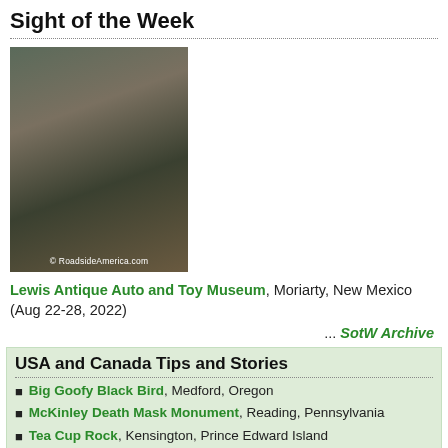Sight of the Week
[Figure (photo): Photo of interior of a vintage car, taken from RoadsideAmerica.com]
Lewis Antique Auto and Toy Museum, Moriarty, New Mexico (Aug 22-28, 2022)
... SotW Archive
USA and Canada Tips and Stories
Big Goofy Black Bird, Medford, Oregon
McKinley Death Mask Monument, Reading, Pennsylvania
Tea Cup Rock, Kensington, Prince Edward Island
Feature: Lewis Antique Auto and Toy Museum, Moriarty, New Mexico
R.E. Olds Transportation Museum, Lansing, Michigan